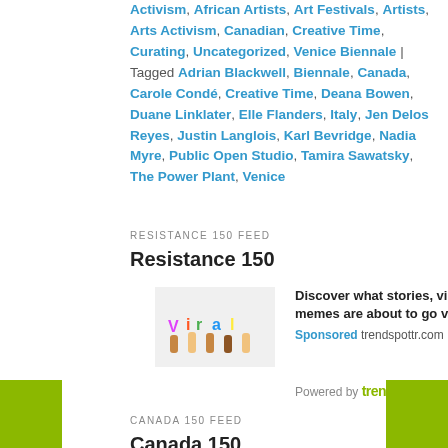Activism, African Artists, Art Festivals, Artists, Arts Activism, Canadian, Creative Time, Curating, Uncategorized, Venice Biennale | Tagged Adrian Blackwell, Biennale, Canada, Carole Condé, Creative Time, Deana Bowen, Duane Linklater, Elle Flanders, Italy, Jen Delos Reyes, Justin Langlois, Karl Bevridge, Nadia Myre, Public Open Studio, Tamira Sawatsky, The Power Plant, Venice
RESISTANCE 150 FEED
Resistance 150
[Figure (photo): Colorful hands holding up letters spelling 'Viral']
Discover what stories, videos and memes are about to go viral
Sponsored trendspottr.com
Powered by trendspottr
CANADA 150 FEED
Canada 150
Discover trending news and